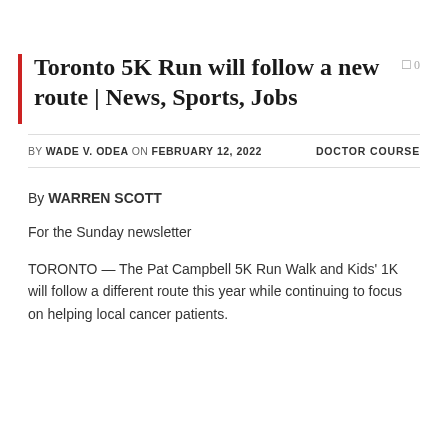Toronto 5K Run will follow a new route | News, Sports, Jobs
BY WADE V. ODEA ON FEBRUARY 12, 2022   DOCTOR COURSE
By WARREN SCOTT
For the Sunday newsletter
TORONTO — The Pat Campbell 5K Run Walk and Kids' 1K will follow a different route this year while continuing to focus on helping local cancer patients.